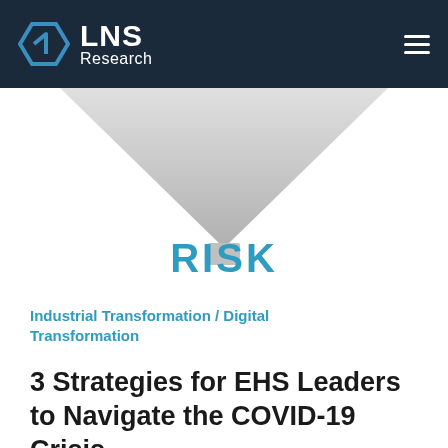LNS Research
[Figure (illustration): Inverted triangle/funnel shape in light gray gradient pointing downward, representing risk funnel diagram]
RISK
Industrial Transformation / Digital Transformation
3 Strategies for EHS Leaders to Navigate the COVID-19 Crisis